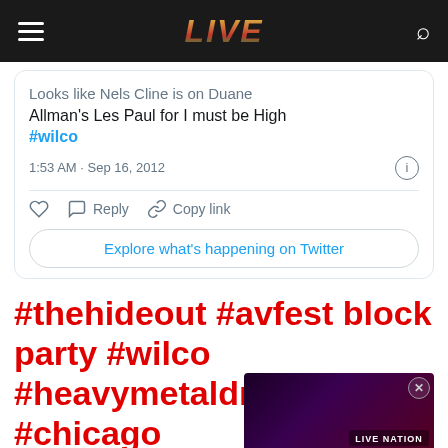LIVE
Looks like Nels Cline is on Duane Allman's Les Paul for I must be High #wilco
1:53 AM · Sep 16, 2012
Reply   Copy link
Explore what's happening on Twitter
#thehideout #avfest block party #wilco #heavymetaldrummer #chicago http://t...
[Figure (screenshot): Live Nation advertisement banner with dark purple/red gradient background]